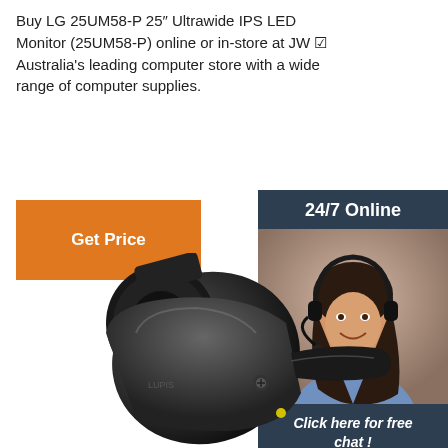Buy LG 25UM58-P 25″ Ultrawide IPS LED Monitor (25UM58-P) online or in-store at JW ☑ Australia's leading computer store with a wide range of computer supplies.
[Figure (other): Orange 'Get Price' button]
[Figure (other): 24/7 Online chat support sidebar with photo of woman wearing headset, 'Click here for free chat!' text and orange QUOTATION button]
[Figure (photo): Black electrical connector/socket product photo]